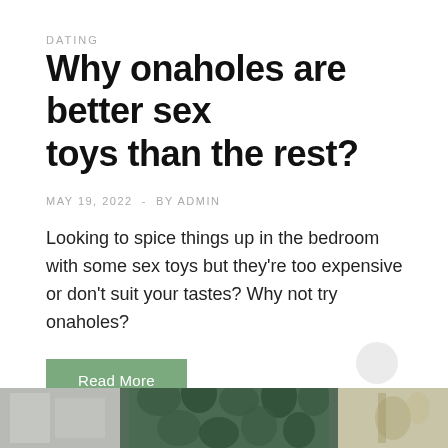DATING
Why onaholes are better sex toys than the rest?
MAY 19, 2022  -  BY ADMIN
Looking to spice things up in the bedroom with some sex toys but they're too expensive or don't suit your tastes? Why not try onaholes?
Read More
[Figure (photo): Bottom strip showing three image panels: a light grey panel on the left, a dark green tropical leaf pattern in the center, and a light tan/green panel on the right.]